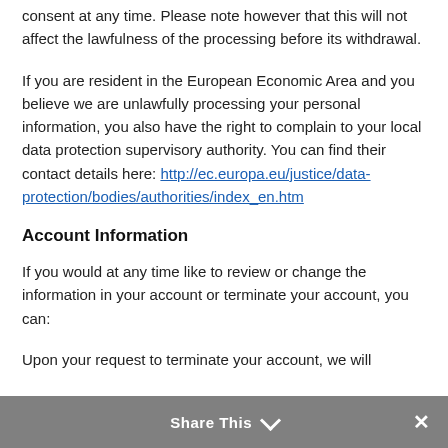personal information, you have the right to withdraw your consent at any time. Please note however that this will not affect the lawfulness of the processing before its withdrawal.
If you are resident in the European Economic Area and you believe we are unlawfully processing your personal information, you also have the right to complain to your local data protection supervisory authority. You can find their contact details here: http://ec.europa.eu/justice/data-protection/bodies/authorities/index_en.htm
Account Information
If you would at any time like to review or change the information in your account or terminate your account, you can:
Upon your request to terminate your account, we will deactivate or delete your account and information from